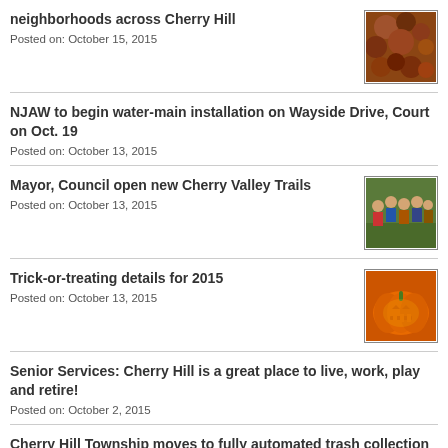neighborhoods across Cherry Hill
Posted on: October 15, 2015
NJAW to begin water-main installation on Wayside Drive, Court on Oct. 19
Posted on: October 13, 2015
Mayor, Council open new Cherry Valley Trails
Posted on: October 13, 2015
Trick-or-treating details for 2015
Posted on: October 13, 2015
Senior Services: Cherry Hill is a great place to live, work, play and retire!
Posted on: October 2, 2015
Cherry Hill Township moves to fully automated trash collection
Posted on: September 29, 2015